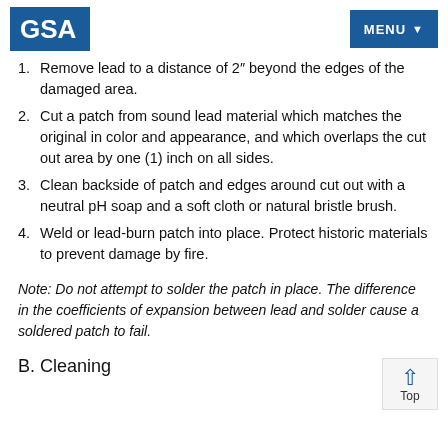GSA | MENU
1. Remove lead to a distance of 2" beyond the edges of the damaged area.
2. Cut a patch from sound lead material which matches the original in color and appearance, and which overlaps the cut out area by one (1) inch on all sides.
3. Clean backside of patch and edges around cut out with a neutral pH soap and a soft cloth or natural bristle brush.
4. Weld or lead-burn patch into place. Protect historic materials to prevent damage by fire.
Note: Do not attempt to solder the patch in place. The difference in the coefficients of expansion between lead and solder cause a soldered patch to fail.
B. Cleaning